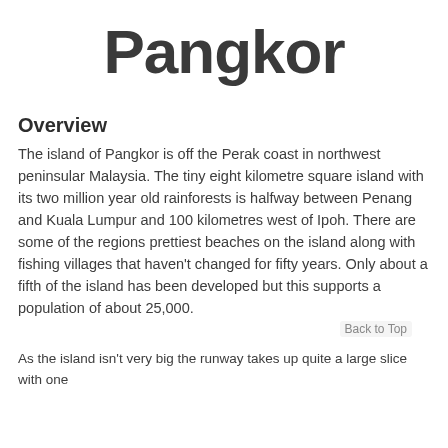Pangkor
Overview
The island of Pangkor is off the Perak coast in northwest peninsular Malaysia. The tiny eight kilometre square island with its two million year old rainforests is halfway between Penang and Kuala Lumpur and 100 kilometres west of Ipoh. There are some of the regions prettiest beaches on the island along with fishing villages that haven't changed for fifty years. Only about a fifth of the island has been developed but this supports a population of about 25,000.
Back to Top
As the island isn't very big the runway takes up quite a large slice with one